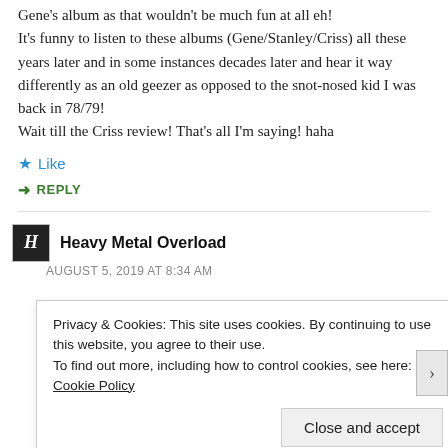Gene's album as that wouldn't be much fun at all eh!
It's funny to listen to these albums (Gene/Stanley/Criss) all these years later and in some instances decades later and hear it way differently as an old geezer as opposed to the snot-nosed kid I was back in 78/79!
Wait till the Criss review! That's all I'm saying! haha
Like
REPLY
Heavy Metal Overload
AUGUST 5, 2019 AT 8:34 AM
Privacy & Cookies: This site uses cookies. By continuing to use this website, you agree to their use.
To find out more, including how to control cookies, see here: Cookie Policy
Close and accept